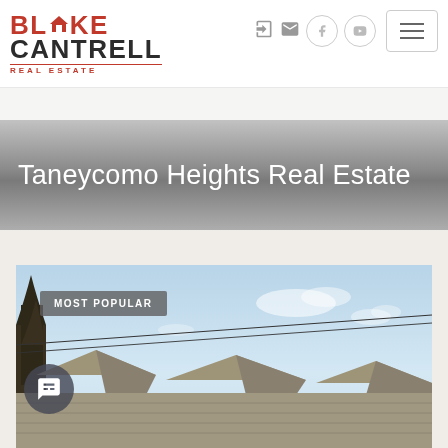Blake Cantrell Real Estate
Taneycomo Heights Real Estate
[Figure (photo): Exterior photo of residential rooftops with power lines against a blue sky with light clouds, partially visible trees on left side. Badge overlay reading MOST POPULAR at top left.]
MOST POPULAR